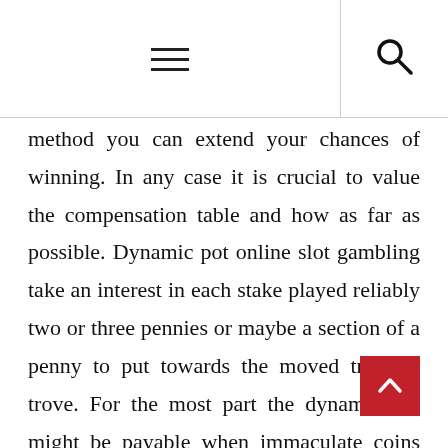≡ [hamburger menu] [search icon]
method you can extend your chances of winning. In any case it is crucial to value the compensation table and how as far as possible. Dynamic pot online slot gambling take an interest in each stake played reliably two or three pennies or maybe a section of a penny to put towards the moved treasure trove. For the most part the dynamic pot might be payable when immaculate coins are played, so it is dependably urgent to play flawless coins when playing any extraordinary prize online slot gambling. In the event that your cash is also little to let you play ideals after that pick a online slot gambling with a littler